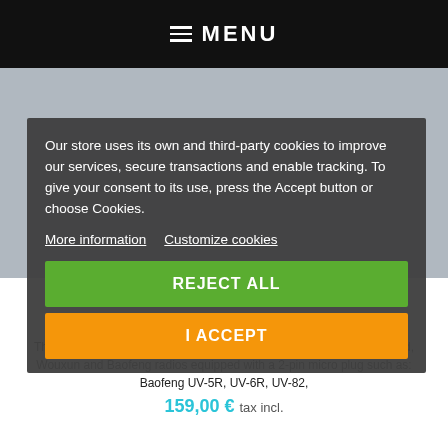≡ MENU
Our store uses its own and third-party cookies to improve our services, secure transactions and enable tracking. To give your consent to its use, press the Accept button or choose Cookies.
More information   Customize cookies
REJECT ALL
I ACCEPT
The Signalink-SLUSB-HTW interface pack is compatible with Kenwood, Wouxun and Baofeng radios equipped with a 2-pin micro plug such as: Baofeng UV-5R, UV-6R, UV-82,
159,00 € tax incl.